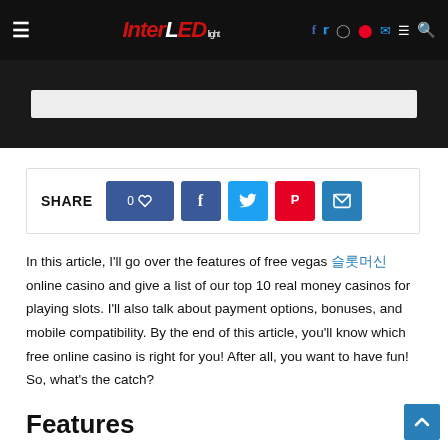InterLED — navigation header with logo and social icons
[Figure (screenshot): Gray banner with white/light gray bar inside, below main header]
[Figure (infographic): Share bar with SHARE label, like count 0, Facebook, Twitter, Pinterest, and Email buttons]
In this article, I'll go over the features of free vegas 슬롯머신 online casino and give a list of our top 10 real money casinos for playing slots. I'll also talk about payment options, bonuses, and mobile compatibility. By the end of this article, you'll know which free online casino is right for you! After all, you want to have fun! So, what's the catch?
Features